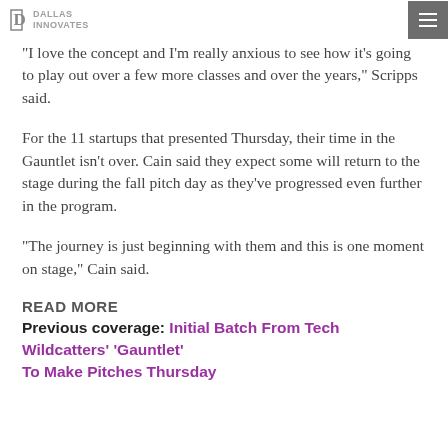DALLAS INNOVATES
“I love the concept and I’m really anxious to see how it’s going to play out over a few more classes and over the years,” Scripps said.
For the 11 startups that presented Thursday, their time in the Gauntlet isn’t over. Cain said they expect some will return to the stage during the fall pitch day as they’ve progressed even further in the program.
“The journey is just beginning with them and this is one moment on stage,” Cain said.
READ MORE
Previous coverage: Initial Batch From Tech Wildcatters’ ‘Gauntlet’ To Make Pitches Thursday